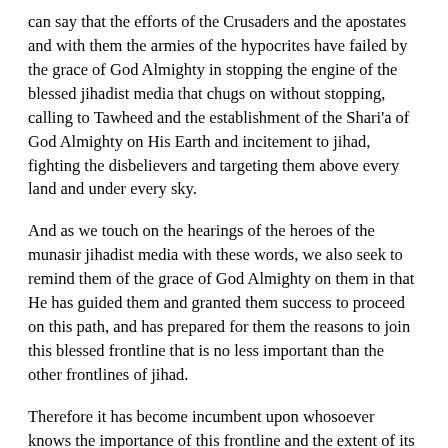can say that the efforts of the Crusaders and the apostates and with them the armies of the hypocrites have failed by the grace of God Almighty in stopping the engine of the blessed jihadist media that chugs on without stopping, calling to Tawheed and the establishment of the Shari'a of God Almighty on His Earth and incitement to jihad, fighting the disbelievers and targeting them above every land and under every sky.
And as we touch on the hearings of the heroes of the munasir jihadist media with these words, we also seek to remind them of the grace of God Almighty on them in that He has guided them and granted them success to proceed on this path, and has prepared for them the reasons to join this blessed frontline that is no less important than the other frontlines of jihad.
Therefore it has become incumbent upon whosoever knows the importance of this frontline and the extent of its impact on the course of the battles, to continue on it and expend more effort and activity in it. And let him take to heart the sincerity of devotion of work to God Almighty, for it is among the greatest causes of continuation and steadfastness on this frontline and every frontline. And let every media mujahid remember that what he does is an obligation, not voluntary work, and on this Sheikh Abu Hamza al-Muhajir (may God accept him) says in directing his words to those who have borne the trust of conveyance: 'Keep to